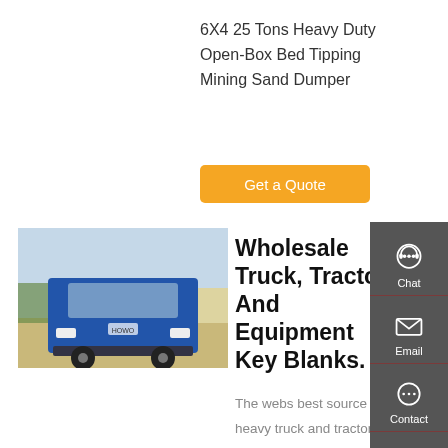6X4 25 Tons Heavy Duty Open-Box Bed Tipping Mining Sand Dumper
Get a Quote
[Figure (photo): Blue heavy duty dump truck (HOWO brand) parked on dirt ground with trees in background]
Wholesale Truck, Tractor, And Equipment Key Blanks.
The webs best source for heavy truck and tractor keys and key blanks. Wholesale key blanks, keys, key machine parts and key cutting machines. The web's